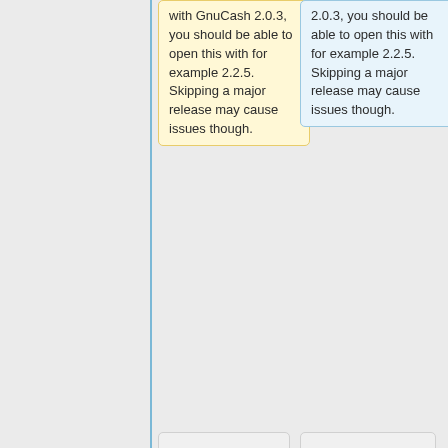with GnuCash 2.0.3, you should be able to open this with for example 2.2.5. Skipping a major release may cause issues though.
2.0.3, you should be able to open this with for example 2.2.5. Skipping a major release may cause issues though.
:You can skip major releases by doing the conversion in two steps. Suppose you want to jump from version 1.8.12 to 2.2.9. To do so, you should first open the file with a GnuCash 2.0.x
:You can skip major releases by doing the conversion in two steps. Suppose you want to jump from version 1.8.12 to 2.2.9. To do so, you should first open the file with a GnuCash 2.0.x